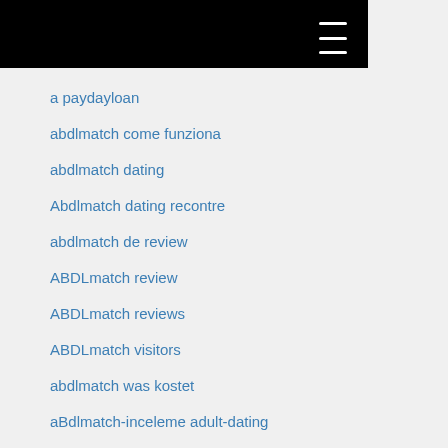a paydayloan
abdlmatch come funziona
abdlmatch dating
Abdlmatch dating recontre
abdlmatch de review
ABDLmatch review
ABDLmatch reviews
ABDLmatch visitors
abdlmatch was kostet
aBdlmatch-inceleme adult-dating
abenteuer-dating kosten
abenteuer-dating reviews
AbenteuerX was kostet